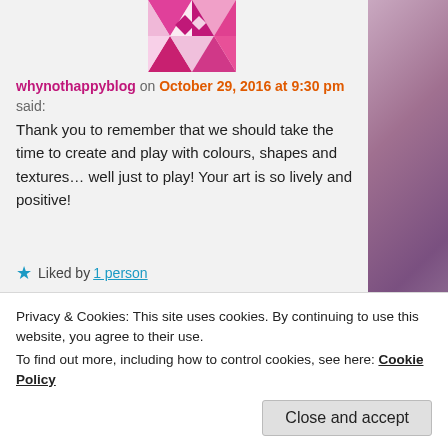[Figure (illustration): Pink and white geometric patterned avatar image at top center]
whynothappyblog on October 29, 2016 at 9:30 pm
said:
Thank you to remember that we should take the time to create and play with colours, shapes and textures… well just to play! Your art is so lively and positive!
★ Liked by 1 person
Reply ↓
Art and Soul Space
Privacy & Cookies: This site uses cookies. By continuing to use this website, you agree to their use.
To find out more, including how to control cookies, see here: Cookie Policy
Close and accept